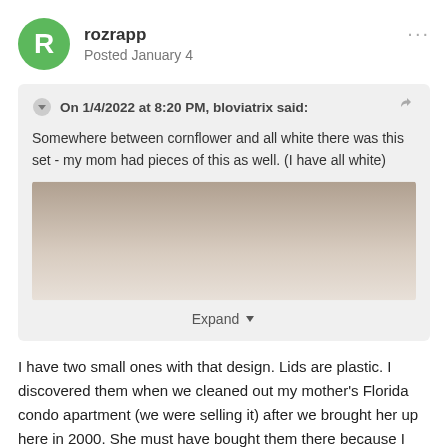rozrapp
Posted January 4
On 1/4/2022 at 8:20 PM, bloviatrix said:
Somewhere between cornflower and all white there was this set - my mom had pieces of this as well. (I have all white)
[Figure (photo): A partially visible photograph showing a beige/cream colored surface, likely a ceramic or porcelain dish, cropped with an expand button below]
I have two small ones with that design. Lids are plastic. I discovered them when we cleaned out my mother's Florida condo apartment (we were selling it) after we brought her up here in 2000. She must have bought them there because I don't recall her having them when she lived up here.* They were the